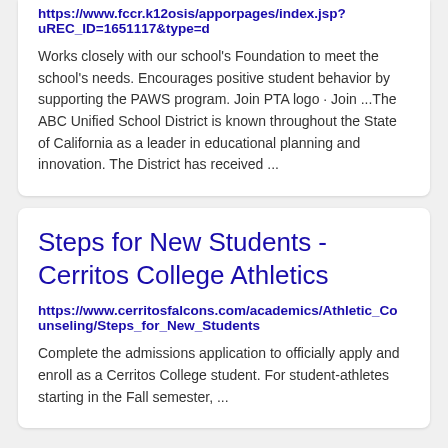https://www.fccr.k12osis/apporpages/index.jsp?uREC_ID=1651117&type=d
Works closely with our school's Foundation to meet the school's needs. Encourages positive student behavior by supporting the PAWS program. Join PTA logo · Join ...The ABC Unified School District is known throughout the State of California as a leader in educational planning and innovation. The District has received ...
Steps for New Students - Cerritos College Athletics
https://www.cerritosfalcons.com/academics/Athletic_Counseling/Steps_for_New_Students
Complete the admissions application to officially apply and enroll as a Cerritos College student. For student-athletes starting in the Fall semester, ...